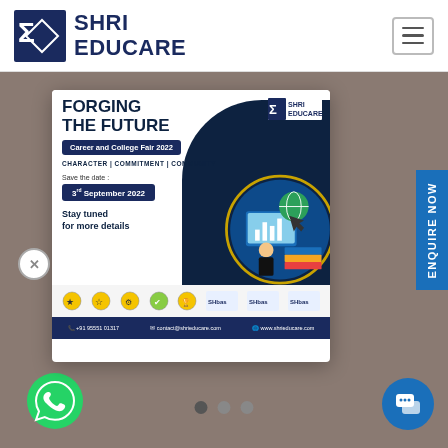[Figure (logo): Shri Educare logo with blue icon and text]
[Figure (infographic): Career and College Fair 2022 promotional card with title FORGING THE FUTURE, date 3rd September 2022, icons bar, and contact footer]
[Figure (logo): WhatsApp green icon button at bottom left]
[Figure (other): Blue chat button at bottom right]